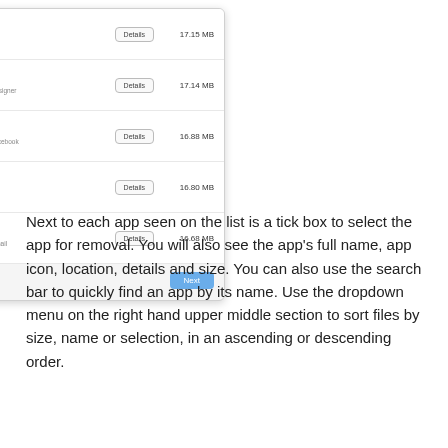[Figure (screenshot): Screenshot of an app list interface showing app rows with checkboxes, icons, names, paths, Details buttons, and file sizes. Apps shown: Disk Aid (17.15 MB), Folder Designer (17.14 MB), Go for Facebook (16.88 MB), Glider (16.80 MB), Go for Gmail (16.68 MB). Back and Next buttons at bottom.]
Next to each app seen on the list is a tick box to select the app for removal. You will also see the app's full name, app icon, location, details and size. You can also use the search bar to quickly find an app by its name. Use the dropdown menu on the right hand upper middle section to sort files by size, name or selection, in an ascending or descending order.